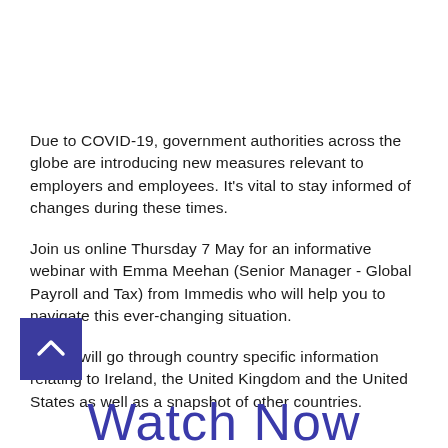Due to COVID-19, government authorities across the globe are introducing new measures relevant to employers and employees. It's vital to stay informed of changes during these times.
Join us online Thursday 7 May for an informative webinar with Emma Meehan (Senior Manager - Global Payroll and Tax) from Immedis who will help you to navigate this ever-changing situation.
Emma will go through country specific information relating to Ireland, the United Kingdom and the United States as well as a snapshot of other countries.
Watch Now